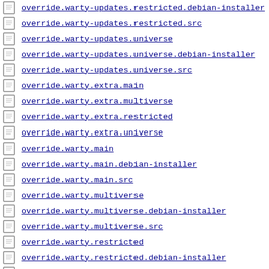override.warty-updates.restricted.debian-installer
override.warty-updates.restricted.src
override.warty-updates.universe
override.warty-updates.universe.debian-installer
override.warty-updates.universe.src
override.warty.extra.main
override.warty.extra.multiverse
override.warty.extra.restricted
override.warty.extra.universe
override.warty.main
override.warty.main.debian-installer
override.warty.main.src
override.warty.multiverse
override.warty.multiverse.debian-installer
override.warty.multiverse.src
override.warty.restricted
override.warty.restricted.debian-installer
override.warty.restricted.src
override.warty.universe